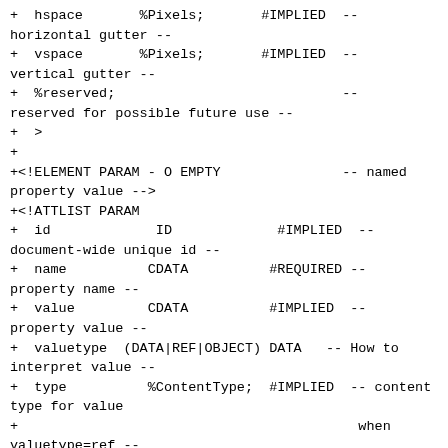+  hspace       %Pixels;       #IMPLIED  --
horizontal gutter --
+  vspace       %Pixels;       #IMPLIED  --
vertical gutter --
+  %reserved;                            --
reserved for possible future use --
+  >
+
+<!ELEMENT PARAM - O EMPTY               -- named
property value -->
+<!ATTLIST PARAM
+  id             ID             #IMPLIED  --
document-wide unique id --
+  name          CDATA          #REQUIRED --
property name --
+  value         CDATA          #IMPLIED  --
property value --
+  valuetype  (DATA|REF|OBJECT) DATA   -- How to
interpret value --
+  type          %ContentType;  #IMPLIED  -- content
type for value
+                                          when
valuetype=ref --
+  >
+
+<!--================== Java APPLET
====================================-->
+<!--
+  One of code or object attributes must be